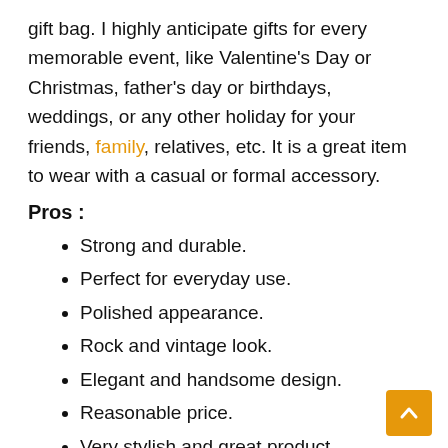gift bag. I highly anticipate gifts for every memorable event, like Valentine's Day or Christmas, father's day or birthdays, weddings, or any other holiday for your friends, family, relatives, etc. It is a great item to wear with a casual or formal accessory.
Pros :
Strong and durable.
Perfect for everyday use.
Polished appearance.
Rock and vintage look.
Elegant and handsome design.
Reasonable price.
Very stylish and great product.